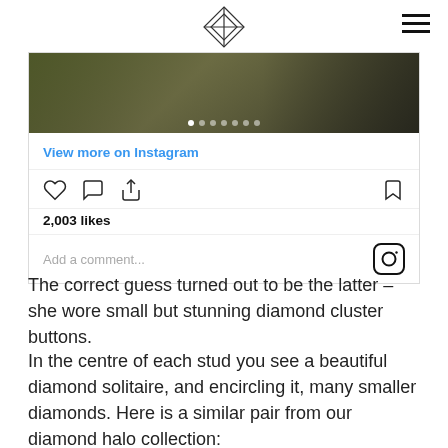Diamond logo and navigation
[Figure (screenshot): Instagram embed showing a post with image strip, navigation dots, View more on Instagram link, like/comment/share action buttons, 2,003 likes count, and Add a comment field with Instagram camera icon]
The correct guess turned out to be the latter – she wore small but stunning diamond cluster buttons.
In the centre of each stud you see a beautiful diamond solitaire, and encircling it, many smaller diamonds. Here is a similar pair from our diamond halo collection: